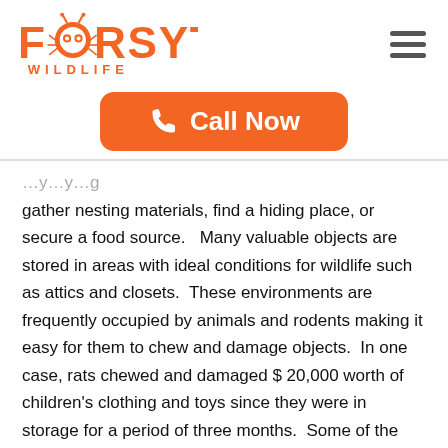[Figure (logo): Forsyth Wildlife logo with orange ant graphic, bold orange FORSYTH text and WILDLIFE subtitle]
[Figure (other): Hamburger menu icon (three horizontal lines)]
Call Now
gather nesting materials, find a hiding place, or secure a food source.   Many valuable objects are stored in areas with ideal conditions for wildlife such as attics and closets.  These environments are frequently occupied by animals and rodents making it easy for them to chew and damage objects.  In one case, rats chewed and damaged $ 20,000 worth of children’s clothing and toys since they were in storage for a period of three months.  Some of the damaged materials included bedding, clothes, plastic bottles, diapers, cribs, camera monitors, and many more.